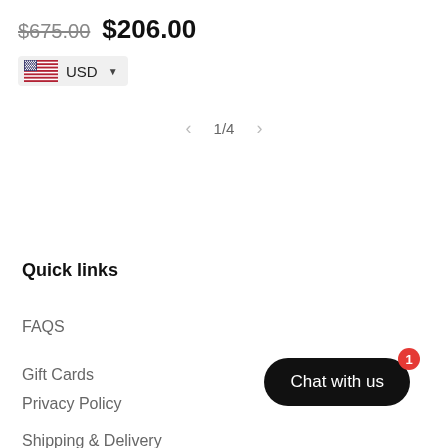$675.00  $206.00
USD
1/4
Quick links
FAQS
Gift Cards
Privacy Policy
Shipping & Delivery
Chat with us